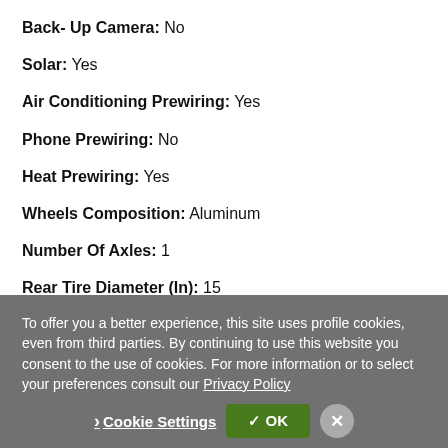Back- Up Camera: No
Solar: Yes
Air Conditioning Prewiring: Yes
Phone Prewiring: No
Heat Prewiring: Yes
Wheels Composition: Aluminum
Number Of Axles: 1
Rear Tire Diameter (In): 15
To offer you a better experience, this site uses profile cookies, even from third parties. By continuing to use this website you consent to the use of cookies. For more information or to select your preferences consult our Privacy Policy